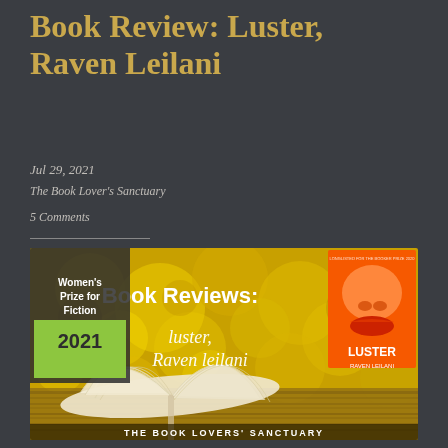Book Review: Luster, Raven Leilani
Jul 29, 2021
The Book Lover's Sanctuary
5 Comments
[Figure (illustration): Book Reviews banner image with yellow bokeh background, open book on wooden surface, text reading 'Book Reviews: luster, Raven leilani', Women's Prize for Fiction 2021 green label on left, Luster by Raven Leilani book cover on right, THE BOOK LOVERS' SANCTUARY text at bottom]